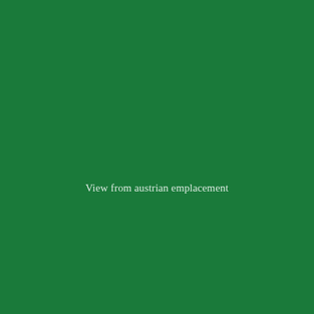[Figure (illustration): Solid dark green background with a thin vertical white line on the left side, approximately 32px from the left edge, running the full height of the page.]
View from austrian emplacement